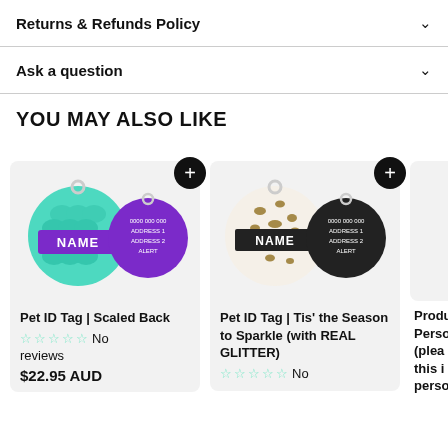Returns & Refunds Policy
Ask a question
You may also like
[Figure (photo): Pet ID Tag | Scaled Back - two circular pet tags, one teal with mermaid scale pattern and NAME in purple, one purple with address details]
Pet ID Tag | Scaled Back
No reviews
$22.95 AUD
[Figure (photo): Pet ID Tag | Tis' the Season to Sparkle (with REAL GLITTER) - two circular pet tags, one leopard print with NAME label, one black with address details]
Pet ID Tag | Tis' the Season to Sparkle (with REAL GLITTER)
No
Produ Perso (plea this i perso